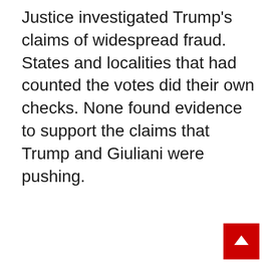Justice investigated Trump's claims of widespread fraud. States and localities that had counted the votes did their own checks. None found evidence to support the claims that Trump and Giuliani were pushing.